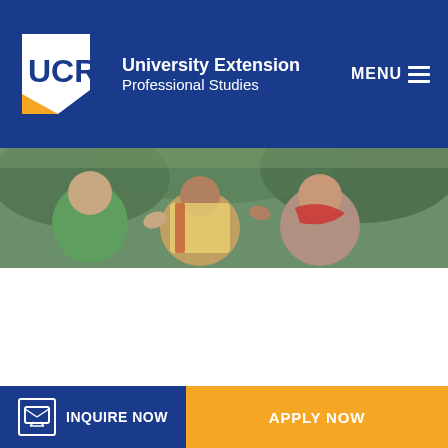UCR University Extension Professional Studies | MENU
[Figure (photo): People in a group outdoors, gesturing with hands, wearing colorful clothing, green vegetation in background]
Career advancer
Experienced professionals working in a range of fields where the climate crisis affects their daily tasks.
INQUIRE NOW | APPLY NOW